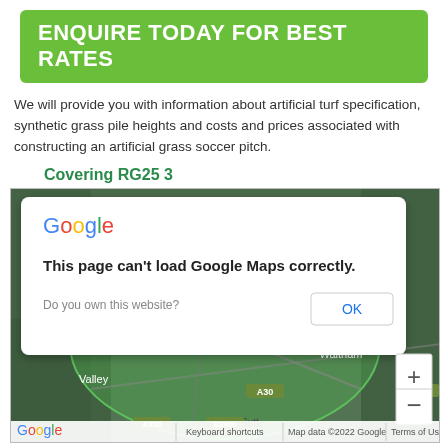ENQUIRE TODAY FOR BEST RATES
We will provide you with information about artificial turf specification, synthetic grass pile heights and costs and prices associated with constructing an artificial grass soccer pitch.
Covering RG25 3
[Figure (screenshot): Google Maps screenshot showing area around RG25 3 (Whitchurch, North Waltham area in Hampshire, UK) with a green circle overlay indicating coverage area. A Google Maps error dialog is shown: 'This page can't load Google Maps correctly.' with an OK button. Map includes zoom controls and standard Google Maps footer with keyboard shortcuts, map data copyright, and terms of use links.]